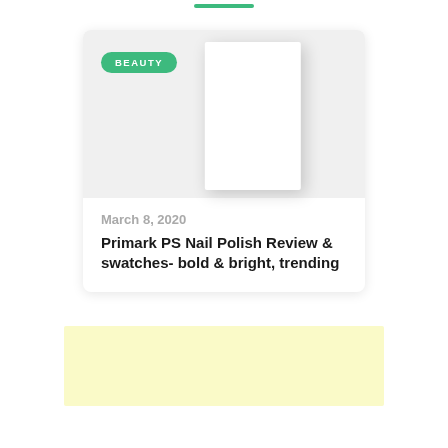[Figure (other): Green horizontal underline decoration at top of page]
[Figure (illustration): Blog post card with a BEAUTY badge, a white rectangular image placeholder with shadow on a grey background, a date 'March 8, 2020', and a bold article title]
March 8, 2020
Primark PS Nail Polish Review & swatches- bold & bright, trending
[Figure (other): Light yellow advertisement placeholder box]